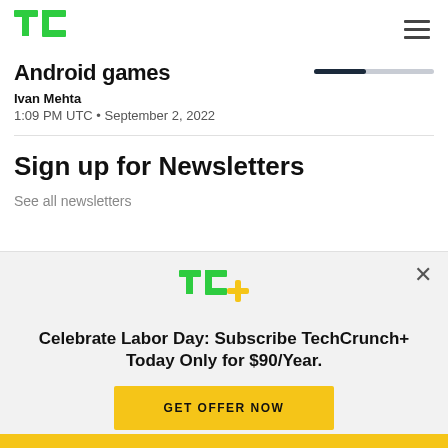TechCrunch logo and navigation
Android games
Ivan Mehta
1:09 PM UTC • September 2, 2022
Sign up for Newsletters
See all newsletters
[Figure (logo): TechCrunch+ logo (TC+ in green and yellow)]
Celebrate Labor Day: Subscribe TechCrunch+ Today Only for $90/Year.
GET OFFER NOW